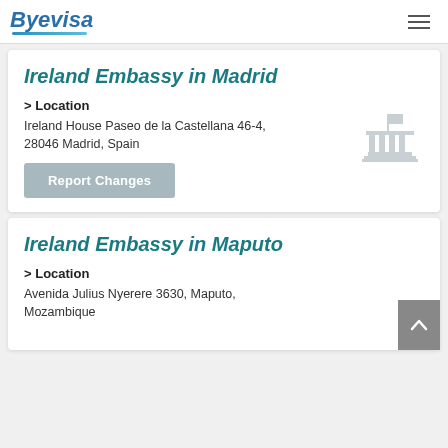Byevisa
Ireland Embassy in Madrid
> Location
Ireland House Paseo de la Castellana 46-4, 28046 Madrid, Spain
[Figure (illustration): Embassy/government building icon in light gray]
Ireland Embassy in Maputo
> Location
Avenida Julius Nyerere 3630, Maputo, Mozambique